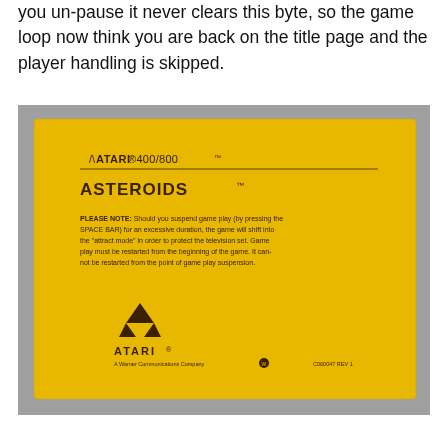you un-pause it never clears this byte, so the game loop now think you are back on the title page and the player handling is skipped.
[Figure (photo): Photograph of the back cover of an Atari 400/800 Asteroids cartridge insert. Yellow card with ATARI 400/800 header, ASTEROIDS title, a PLEASE NOTE paragraph about suspend mode, Atari logo, and catalog number C060047 REV 1.]